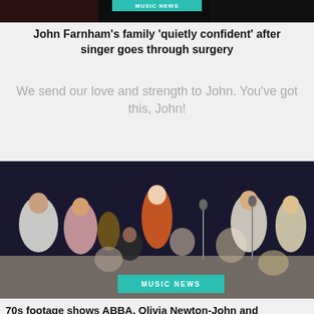[Figure (photo): Top portion of a photo showing performers on a dark stage with a teal/turquoise badge overlay visible]
John Farnham's family 'quietly confident' after singer goes through surgery
We send our love and strength to John. You've got this, John!
[Figure (photo): Vintage 1970s footage showing ABBA and Olivia Newton-John and others seated in a circle on a dimly lit stage, with a 'MUSIC NEWS' teal badge overlay at the bottom]
70s footage shows ABBA, Olivia Newton-John and